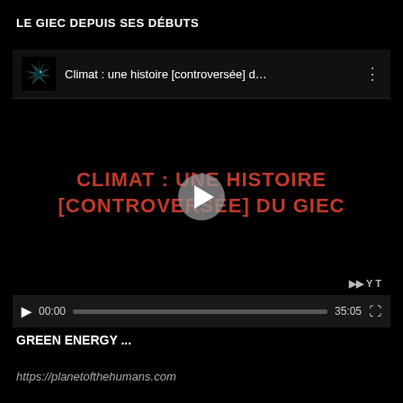LE GIEC DEPUIS SES DÉBUTS
[Figure (screenshot): Embedded YouTube video player showing a video titled 'Climat : une histoire [controversée] d...' with a channel icon (stylized cyan eye). The video thumbnail shows large red bold text reading 'CLIMAT : UNE HISTOIRE [CONTROVERSÉE] DU GIEC' on a black background, with a white play button in the center. Video controls show play button, time 00:00, progress bar, duration 35:05, and fullscreen button.]
GREEN ENERGY ...
https://planetofthehumans.com